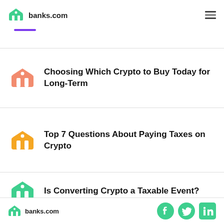banks.com
Choosing Which Crypto to Buy Today for Long-Term
Top 7 Questions About Paying Taxes on Crypto
Is Converting Crypto a Taxable Event?
banks.com